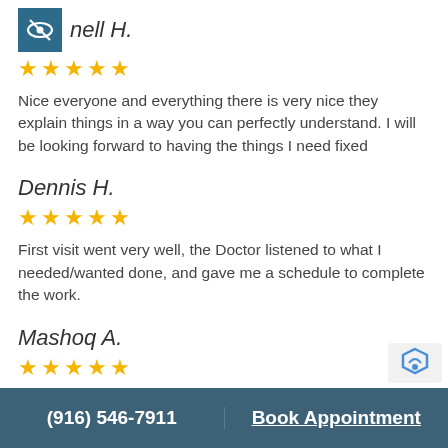nell H.
★★★★★
Nice everyone and everything there is very nice they explain things in a way you can perfectly understand. I will be looking forward to having the things I need fixed
Dennis H.
★★★★★
First visit went very well, the Doctor listened to what I needed/wanted done, and gave me a schedule to complete the work.
Mashoq A.
★★★★★
Everything about this office is amazing from the staffs to the dentist and the dentist take his time to take care of his p...
(916) 546-7911    Book Appointment